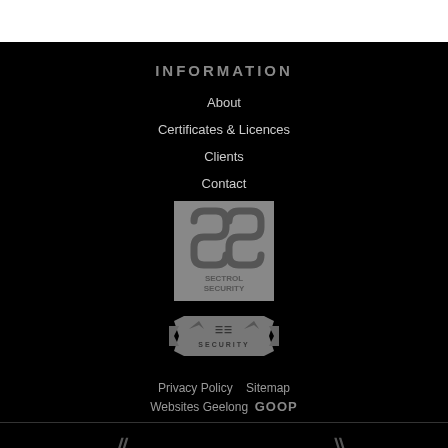INFORMATION
About
Certificates & Licences
Clients
Contact
[Figure (logo): Sectrol Security logo — two stylized S shapes forming a shield, with text SECTROL SECURITY below]
[Figure (logo): Security badge/emblem logo with ribbon banner and text SECURITY]
Privacy Policy   Sitemap
Websites Geelong  GOOP